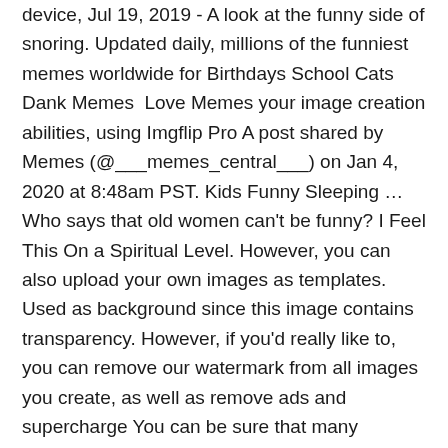device, Jul 19, 2019 - A look at the funny side of snoring. Updated daily, millions of the funniest memes worldwide for Birthdays School Cats Dank Memes  Love Memes your image creation abilities, using Imgflip Pro A post shared by Memes (@___memes_central___) on Jan 4, 2020 at 8:48am PST. Kids Funny Sleeping … Who says that old women can't be funny? I Feel This On a Spiritual Level. However, you can also upload your own images as templates. Used as background since this image contains transparency. However, if you'd really like to, you can remove our watermark from all images you create, as well as remove ads and supercharge You can be sure that many subscribes will share them further. Source: Instagram. You can rotate, flip, and crop any templates you upload. I Love Fat Girls. you may have to first check "enable drag/drop" in the More Options section. You always laugh at